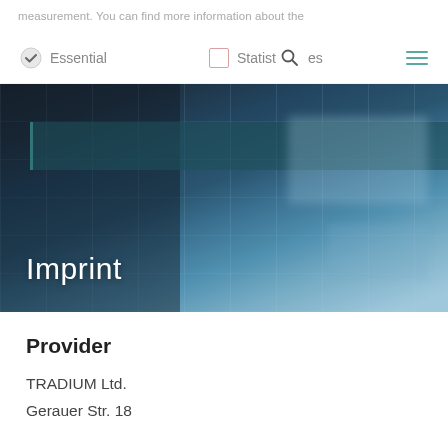measurement. You can find more information about the
[Figure (screenshot): Navigation bar with Essential checkbox (checked), Statistics checkbox (unchecked), search icon, and hamburger menu icon]
[Figure (photo): Hero banner image showing blurred office/library interior with dark blue tones and the word 'Imprint' overlaid in white text]
Provider
TRADIUM Ltd.
Gerauer Str. 18